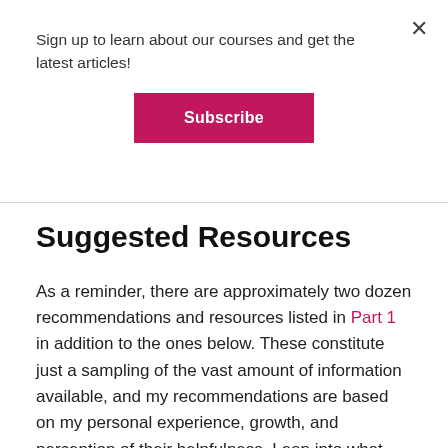Sign up to learn about our courses and get the latest articles!
Subscribe
Suggested Resources
As a reminder, there are approximately two dozen recommendations and resources listed in Part 1 in addition to the ones below. These constitute just a sampling of the vast amount of information available, and my recommendations are based on my personal experience, growth, and perception of their helpfulness. Lean into what resonates, and know that there are